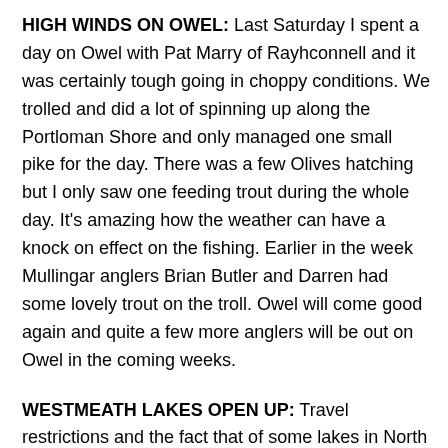HIGH WINDS ON OWEL: Last Saturday I spent a day on Owel with Pat Marry of Rayhconnell and it was certainly tough going in choppy conditions. We trolled and did a lot of spinning up along the Portloman Shore and only managed one small pike for the day. There was a few Olives hatching but I only saw one feeding trout during the whole day. It's amazing how the weather can have a knock on effect on the fishing. Earlier in the week Mullingar anglers Brian Butler and Darren had some lovely trout on the troll. Owel will come good again and quite a few more anglers will be out on Owel in the coming weeks.
WESTMEATH LAKES OPEN UP: Travel restrictions and the fact that of some lakes in North Westmeath were closed for angling since the end of March had anglers on hold for the past few weeks. Thankfully, now we can travel across Westmeath and the North Westmeath lakes are back in range for local anglers. Glore, Lene, Bane and the Whitelake are all back within the